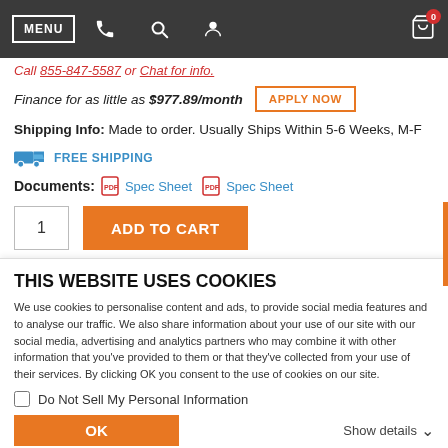MENU | phone | search | account | cart (0)
Call 855-847-5587 or Chat for info.
Finance for as little as $977.89/month  APPLY NOW
Shipping Info: Made to order. Usually Ships Within 5-6 Weeks, M-F
FREE SHIPPING
Documents: Spec Sheet  Spec Sheet
1  ADD TO CART
THIS WEBSITE USES COOKIES
We use cookies to personalise content and ads, to provide social media features and to analyse our traffic. We also share information about your use of our site with our social media, advertising and analytics partners who may combine it with other information that you've provided to them or that they've collected from your use of their services. By clicking OK you consent to the use of cookies on our site.
Do Not Sell My Personal Information
OK  Show details